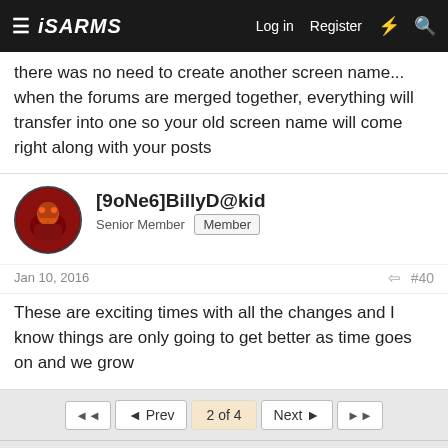ISARMS — Log in  Register
there was no need to create another screen name... when the forums are merged together, everything will transfer into one so your old screen name will come right along with your posts
[9oNe6]BillyD@kid
Senior Member  Member
Jan 10, 2016  #40
These are exciting times with all the changes and I know things are only going to get better as time goes on and we grow
◄◄  ◄ Prev  2 of 4  Next ►  ►►
You must log in or register to reply here.
Similar threads